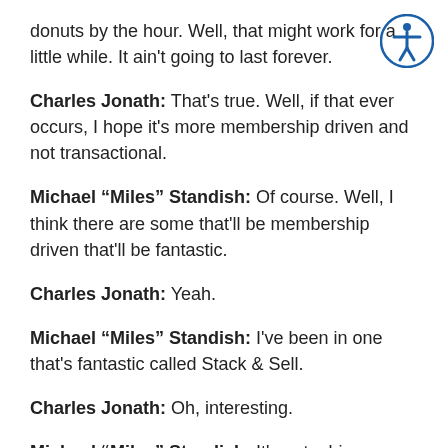donuts by the hour. Well, that might work for a little while. It ain't going to last forever.
Charles Jonath: That's true. Well, if that ever occurs, I hope it's more membership driven and not transactional.
Michael "Miles" Standish: Of course. Well, I think there are some that'll be membership driven that'll be fantastic.
Charles Jonath: Yeah.
Michael "Miles" Standish: I've been in one that's fantastic called Stack & Sell.
Charles Jonath: Oh, interesting.
Michael "Miles" Standish: It's got a big community of people. Yeah, it's you guys should check it out.
Charles Jonath: Yeah, I'm not familiar with Stack & Sell.